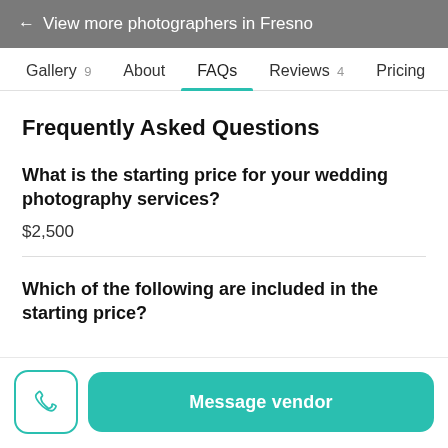← View more photographers in Fresno
Gallery 9   About   FAQs   Reviews 4   Pricing
Frequently Asked Questions
What is the starting price for your wedding photography services?
$2,500
Which of the following are included in the starting price?
Message vendor